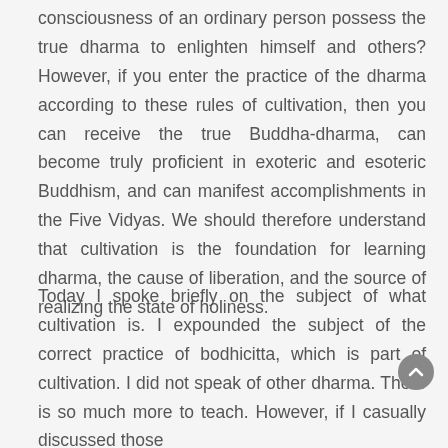consciousness of an ordinary person possess the true dharma to enlighten himself and others? However, if you enter the practice of the dharma according to these rules of cultivation, then you can receive the true Buddha-dharma, can become truly proficient in exoteric and esoteric Buddhism, and can manifest accomplishments in the Five Vidyas. We should therefore understand that cultivation is the foundation for learning dharma, the cause of liberation, and the source of realizing the state of holiness.
Today I spoke briefly on the subject of what cultivation is. I expounded the subject of the correct practice of bodhicitta, which is part of cultivation. I did not speak of other dharma. There is so much more to teach. However, if I casually discussed those